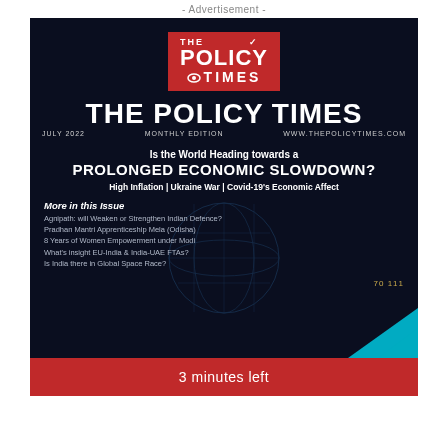- Advertisement -
[Figure (illustration): Magazine cover of The Policy Times, July 2022 Monthly Edition. Dark navy blue background with globe graphic. Red logo box at top with THE POLICY TIMES text. Large white title text. Feature story about prolonged economic slowdown. List of articles in issue.]
THE POLICY TIMES
JULY 2022   MONTHLY EDITION   WWW.THEPOLICYTIMES.COM
Is the World Heading towards a PROLONGED ECONOMIC SLOWDOWN? High Inflation | Ukraine War | Covid-19's Economic Affect
More in this Issue
Agnipath: will Weaken or Strengthen Indian Defence?
Pradhan Mantri Apprenticeship Mela (Odisha)
8 Years of Women Empowerment under Modi
What's insight EU-India & India-UAE FTAs?
Is India there in Global Space Race?
3 minutes left